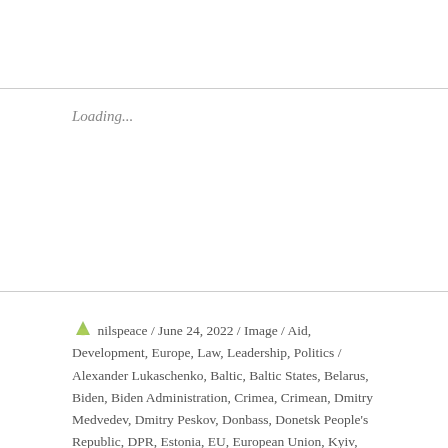Loading...
nilspeace / June 24, 2022 / Image / Aid, Development, Europe, Law, Leadership, Politics / Alexander Lukaschenko, Baltic, Baltic States, Belarus, Biden, Biden Administration, Crimea, Crimean, Dmitry Medvedev, Dmitry Peskov, Donbass, Donetsk People's Republic, DPR, Estonia, EU, European Union, Kyiv, Latvia, Lithuania, LPR, Luhansk People's Republic, Moscow, NATO, North Atlantic Treaty Organization, Poland, President Putin, President Zelensky, Russia, Russian Government, Sergei Shoigu, Sergey Lavrov, Ukraine, US Government, Viktor Yanukovich, Viktor